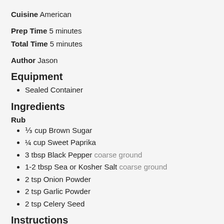Cuisine  American
Prep Time  5 minutes
Total Time  5 minutes
Author  Jason
Equipment
Sealed Container
Ingredients
Rub
⅓ cup Brown Sugar
¼ cup Sweet Paprika
3 tbsp Black Pepper coarse ground
1-2 tbsp Sea or Kosher Salt coarse ground
2 tsp Onion Powder
2 tsp Garlic Powder
2 tsp Celery Seed
Instructions